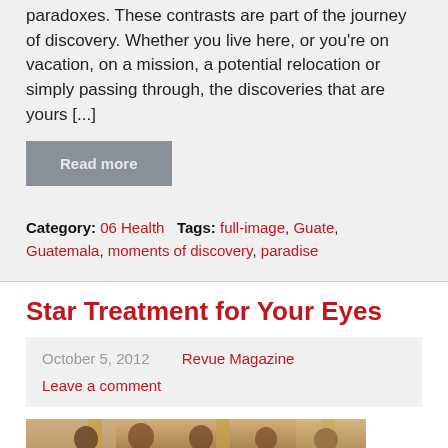paradoxes. These contrasts are part of the journey of discovery. Whether you live here, or you're on vacation, on a mission, a potential relocation or simply passing through, the discoveries that are yours [...]
Read more
Category: 06 Health   Tags: full-image, Guate, Guatemala, moments of discovery, paradise
Star Treatment for Your Eyes
October 5, 2012   Revue Magazine   Leave a comment
[Figure (photo): Photo of several women at an interior venue with warm lighting and columns]